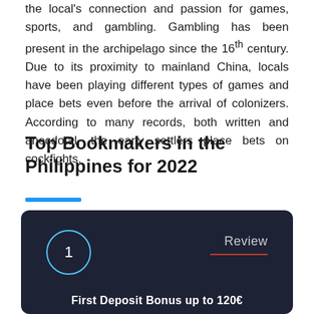the local's connection and passion for games, sports, and gambling. Gambling has been present in the archipelago since the 16th century. Due to its proximity to mainland China, locals have been playing different types of games and place bets even before the arrival of colonizers. According to many records, both written and anecdotal, the early settlers place bets on cockfights.
Top Bookmakers in the Philippines for 2022
[Figure (other): Dark navy card with a numbered circle badge showing '1' in teal outline, a 'Review' label with red underline on the right, and partial text at the bottom reading 'First Deposit Bonus up to 120€']